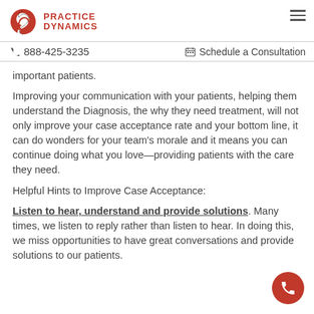PRACTICE DYNAMICS | 888-425-3235 | Schedule a Consultation
important patients.
Improving your communication with your patients, helping them understand the Diagnosis, the why they need treatment, will not only improve your case acceptance rate and your bottom line, it can do wonders for your team's morale and it means you can continue doing what you love—providing patients with the care they need.
Helpful Hints to Improve Case Acceptance:
Listen to hear, understand and provide solutions. Many times, we listen to reply rather than listen to hear. In doing this, we miss opportunities to have great conversations and provide solutions to our patients.